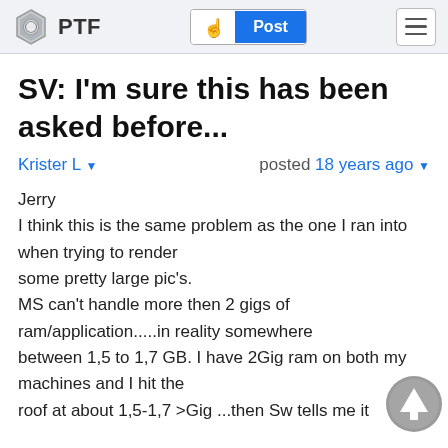PTF  Post
SV: I'm sure this has been asked before...
Krister L ▾   posted 18 years ago ▾
Jerry
I think this is the same problem as the one I ran into when trying to render
some pretty large pic's.
MS can't handle more then 2 gigs of ram/application.....in reality somewhere
between 1,5 to 1,7 GB. I have 2Gig ram on both my machines and I hit the
roof at about 1,5-1,7 >Gig ...then Sw tells me it